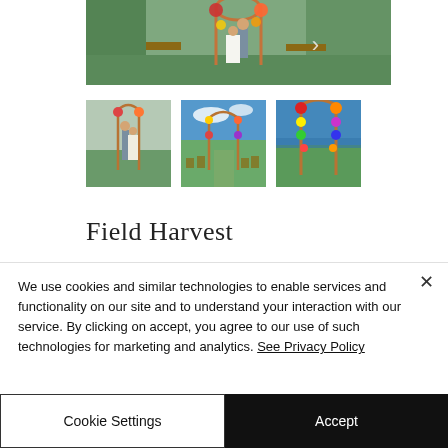[Figure (photo): Main wedding ceremony photo showing bride and groom under a floral arch outdoors with tropical trees and wooden furniture in background]
[Figure (photo): Thumbnail 1: Couple standing under a geometric copper floral arch on a lawn]
[Figure (photo): Thumbnail 2: Outdoor wedding ceremony aisle with wooden arch and ocean/sky background]
[Figure (photo): Thumbnail 3: Close-up of floral arch decorated with colorful flowers by the coast]
Field Harvest
We use cookies and similar technologies to enable services and functionality on our site and to understand your interaction with our service. By clicking on accept, you agree to our use of such technologies for marketing and analytics. See Privacy Policy